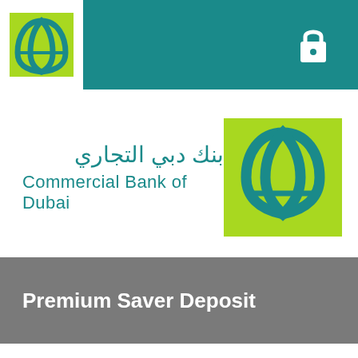[Figure (logo): Commercial Bank of Dubai top navigation bar with teal background, CBD logo on left, lock icon on right]
[Figure (logo): Commercial Bank of Dubai logo: Arabic text 'بنك دبي التجاري' and English text 'Commercial Bank of Dubai' with green and blue arch icon]
Premium Saver Deposit